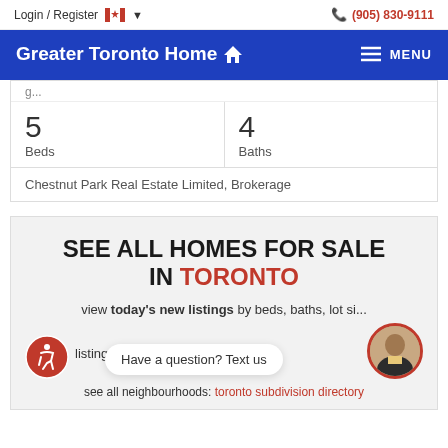Login / Register  (905) 830-9111
Greater Toronto Home
5 Beds  4 Baths
Chestnut Park Real Estate Limited, Brokerage
SEE ALL HOMES FOR SALE IN TORONTO
view today's new listings by beds, baths, lot si...
listing sta... Have a question? Text us ...e!
see all neighbourhoods: toronto subdivision directory